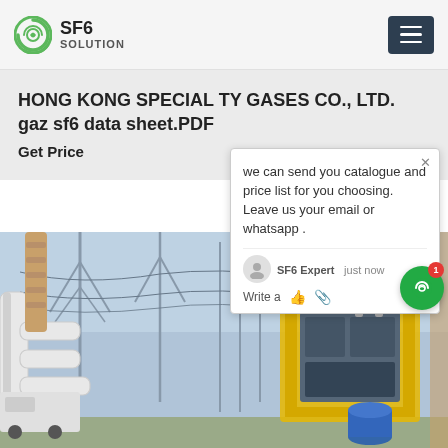SF6 SOLUTION
HONG KONG SPECIAL TY GASES CO., LTD. gaz sf6 data sheet.PDF
Get Price
we can send you catalogue and price list for you choosing.
Leave us your email or whatsapp .
SF6 Expert   just now
Write a
[Figure (photo): Electrical substation with high-voltage equipment, transformers, insulators, overhead lines, and a yellow SF6 gas service cart in the foreground.]